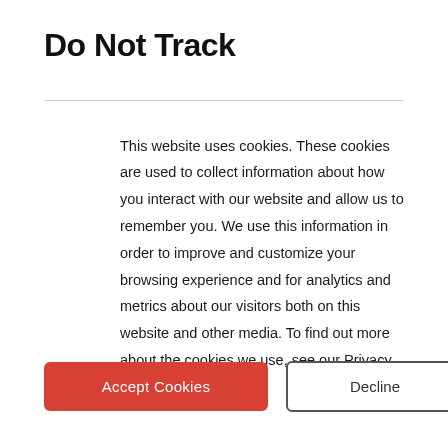Do Not Track
This website uses cookies. These cookies are used to collect information about how you interact with our website and allow us to remember you. We use this information in order to improve and customize your browsing experience and for analytics and metrics about our visitors both on this website and other media. To find out more about the cookies we use, see our Privacy Policy.
Accept Cookies
Decline